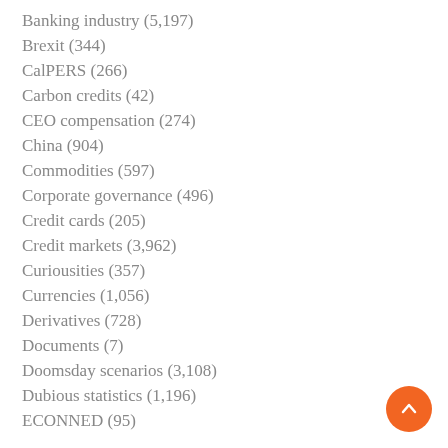Banking industry (5,197)
Brexit (344)
CalPERS (266)
Carbon credits (42)
CEO compensation (274)
China (904)
Commodities (597)
Corporate governance (496)
Credit cards (205)
Credit markets (3,962)
Curiousities (357)
Currencies (1,056)
Derivatives (728)
Documents (7)
Doomsday scenarios (3,108)
Dubious statistics (1,196)
ECONNED (95)